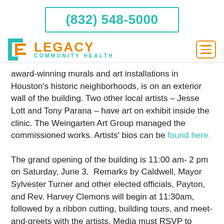(832) 548-5000
[Figure (logo): Legacy Community Health logo with teal icon and orange text, plus hamburger menu icon]
award-winning murals and art installations in Houston's historic neighborhoods, is on an exterior wall of the building. Two other local artists – Jesse Lott and Tony Parana – have art on exhibit inside the clinic. The Weingarten Art Group managed the commissioned works. Artists' bios can be found here.
The grand opening of the building is 11:00 am- 2 pm on Saturday, June 3.  Remarks by Caldwell, Mayor Sylvester Turner and other elected officials, Payton, and Rev. Harvey Clemons will begin at 11:30am, followed by a ribbon cutting, building tours, and meet-and-greets with the artists. Media must RSVP to knix@legacycommunityhealth.org